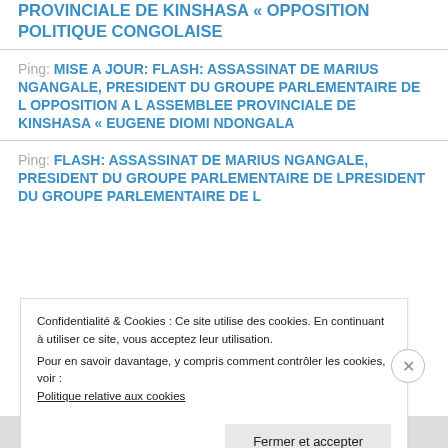PROVINCIALE DE KINSHASA « OPPOSITION POLITIQUE CONGOLAISE
Ping: MISE A JOUR: FLASH: ASSASSINAT DE MARIUS NGANGALE, PRESIDENT DU GROUPE PARLEMENTAIRE DE L OPPOSITION A L ASSEMBLEE PROVINCIALE DE KINSHASA « EUGENE DIOMI NDONGALA
Ping: FLASH: ASSASSINAT DE MARIUS NGANGALE, PRESIDENT DU GROUPE PARLEMENTAIRE DE L
Confidentialité & Cookies : Ce site utilise des cookies. En continuant à utiliser ce site, vous acceptez leur utilisation. Pour en savoir davantage, y compris comment contrôler les cookies, voir : Politique relative aux cookies
Fermer et accepter